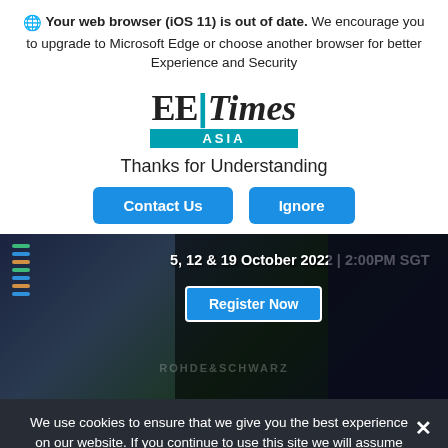🌐 Your web browser (iOS 11) is out of date. We encourage you to upgrade to Microsoft Edge or choose another browser for better Experience and Security
[Figure (logo): EE Times Asia logo with teal ASIA bar]
Thanks for Understanding
Contact Us   Ignore
[Figure (screenshot): Dark banner with text '5, 12 & 19 October 2022 | 2:00PM SGT' and a 'Register Now' button on a dark tech background]
We use cookies to ensure that we give you the best experience on our website. If you continue to use this site we will assume that you are happy with it.
Ok
lectronics